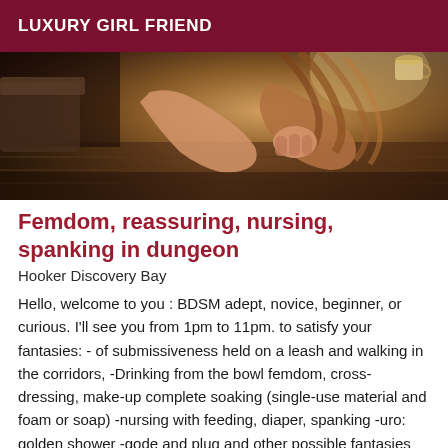LUXURY GIRL FRIEND
[Figure (photo): A photo showing a person pulling another person's hair, with blurred wooden floor background and warm tones.]
Femdom, reassuring, nursing, spanking in dungeon
Hooker Discovery Bay
Hello, welcome to you : BDSM adept, novice, beginner, or curious. I'll see you from 1pm to 11pm. to satisfy your fantasies: - of submissiveness held on a leash and walking in the corridors, -Drinking from the bowl femdom, cross-dressing, make-up complete soaking (single-use material and foam or soap) -nursing with feeding, diaper, spanking -uro: golden shower -gode and plug and other possible fantasies on demand I'M 10